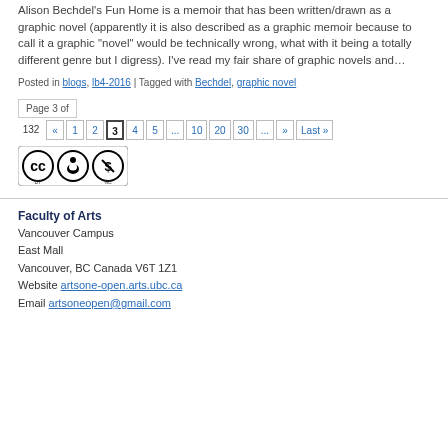Alison Bechdel's Fun Home is a memoir that has been written/drawn as a graphic novel (apparently it is also described as a graphic memoir because to call it a graphic "novel" would be technically wrong, what with it being a totally different genre but I digress). I've read my fair share of graphic novels and…
Posted in blogs, lb4-2016 | Tagged with Bechdel, graphic novel
Page 3 of 132 « 1 2 3 4 5 ... 10 20 30 ... » Last »
[Figure (logo): Creative Commons BY-NC license badge]
Faculty of Arts
Vancouver Campus
East Mall
Vancouver, BC Canada V6T 1Z1
Website artsone-open.arts.ubc.ca
Email artsoneopen@gmail.com